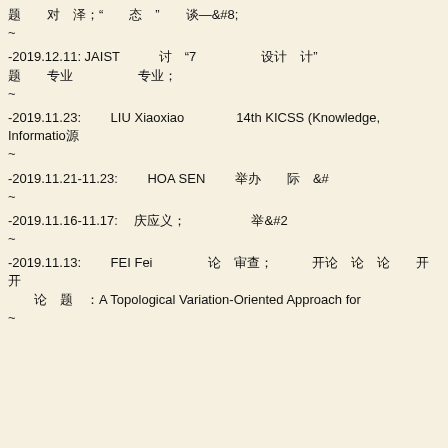&#39064; &#23545; &#27901;"&#24577;"&#35848;&#8212;&#8230;~
-2019.12.11: JAIST&#35752;"7&#35774;&#35745;" &#39064; &#19987;&#19994; &#19987;&#19994;~
-2019.11.23: LIU Xiaoxiao 14th KICSS (Knowledge, Information~
-2019.11.21-11.23: HOA SEN &#20030;&#21150;&#38469;&#8230;~
-2019.11.16-11.17: &#24198;&#24212;&#20041; &#20030;&#8230;~
-2019.11.13: FEI Fei &#35770;&#23457;&#26597; &#24320; &#35770;&#39064;:A Topological Variation-Oriented Approach for~